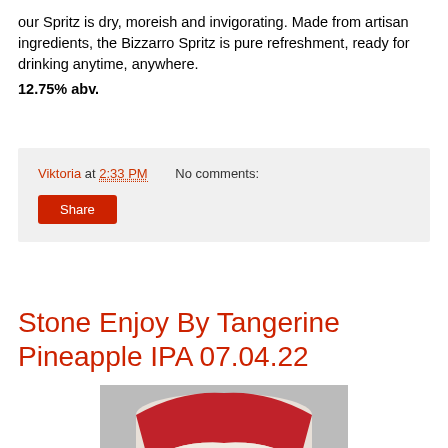our Spritz is dry, moreish and invigorating. Made from artisan ingredients, the Bizzarro Spritz is pure refreshment, ready for drinking anytime, anywhere.
12.75% abv.
Viktoria at 2:33 PM   No comments:
Share
Stone Enjoy By Tangerine Pineapple IPA 07.04.22
[Figure (photo): Close-up photo of a red and white Stone Brewing beer can showing the 'STONE' text on the label, with a blurred background.]